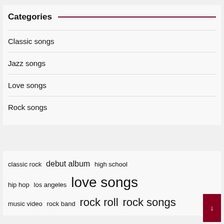Categories
Classic songs
Jazz songs
Love songs
Rock songs
classic rock  debut album  high school  hip hop  los angeles  love songs  music video  rock band  rock roll  rock songs